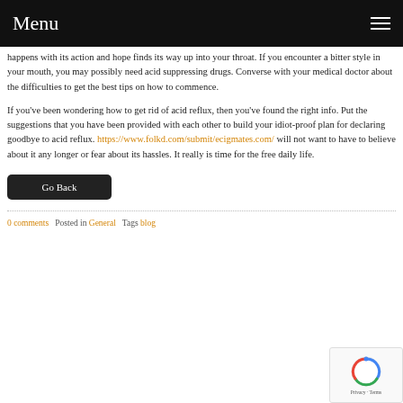Menu
happens with its action and hope finds its way up into your throat. If you encounter a bitter style in your mouth, you may possibly need acid suppressing drugs. Converse with your medical doctor about the difficulties to get the best tips on how to commence.
If you've been wondering how to get rid of acid reflux, then you've found the right info. Put the suggestions that you have been provided with each other to build your idiot-proof plan for declaring goodbye to acid reflux. https://www.folkd.com/submit/ecigmates.com/ will not want to have to believe about it any longer or fear about its hassles. It really is time for the free daily life.
Go Back
0 comments   Posted in General   Tags blog